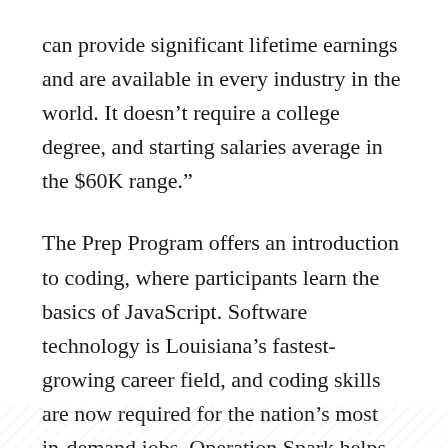can provide significant lifetime earnings and are available in every industry in the world. It doesn’t require a college degree, and starting salaries average in the $60K range.”
The Prep Program offers an introduction to coding, where participants learn the basics of JavaScript. Software technology is Louisiana’s fastest-growing career field, and coding skills are now required for the nation’s most in-demand jobs. Operation Spark helps candidates determine if software engineering is a career they may be interested in pursuing.